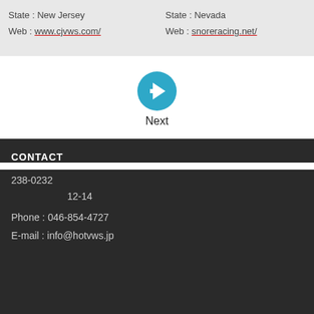State : New Jersey
Web : www.cjvws.com/
State : Nevada
Web : snoreracing.net/
[Figure (illustration): Teal circle with white right-arrow icon labeled Next]
CONTACT
238-0232
12-14
Phone : 046-854-4727
E-mail : info@hotvws.jp